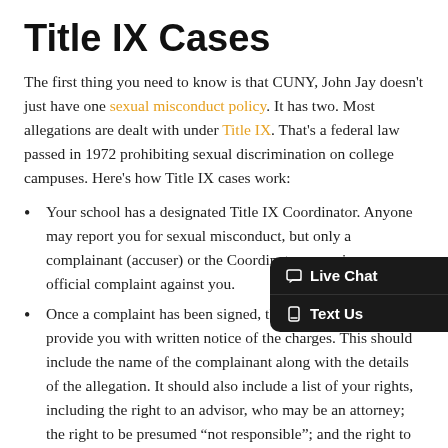Title IX Cases
The first thing you need to know is that CUNY, John Jay doesn't just have one sexual misconduct policy. It has two. Most allegations are dealt with under Title IX. That's a federal law passed in 1972 prohibiting sexual discrimination on college campuses. Here's how Title IX cases work:
Your school has a designated Title IX Coordinator. Anyone may report you for sexual misconduct, but only a complainant (accuser) or the Coordinator may sign an official complaint against you.
Once a complaint has been signed, the Coordinator must provide you with written notice of the charges. This should include the name of the complainant along with the details of the allegation. It should also include a list of your rights, including the right to an advisor, who may be an attorney; the right to be presumed "not responsible"; and the right to